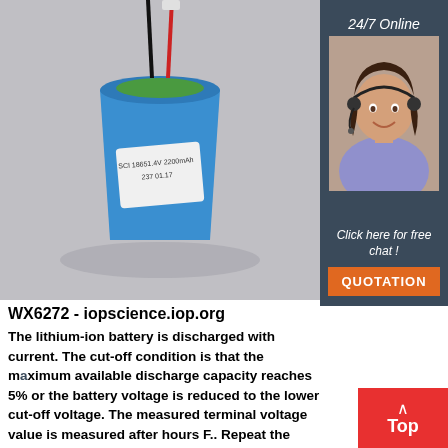[Figure (photo): Photo of a blue lithium-ion battery with red and black wires coming out of the top, placed on a grey surface. The battery has a white label with text.]
[Figure (photo): Sidebar showing a woman wearing a headset smiling, with '24/7 Online' text above, 'Click here for free chat!' below, and an orange QUOTATION button.]
WX6272 - iopscience.iop.org
The lithium-ion battery is discharged with current. The cut-off condition is that the maximum available discharge capacity reaches 5% or the battery voltage is reduced to the lower cut-off voltage. The measured terminal voltage value is measured after hours F.. Repeat the process E until the Lithium-ion battery reaches the lower cut